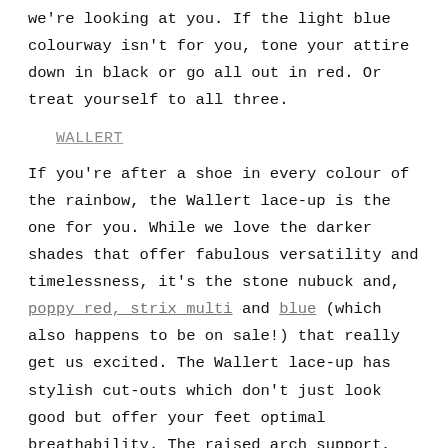we're looking at you. If the light blue colourway isn't for you, tone your attire down in black or go all out in red. Or treat yourself to all three.
WALLERT
If you're after a shoe in every colour of the rainbow, the Wallert lace-up is the one for you. While we love the darker shades that offer fabulous versatility and timelessness, it's the stone nubuck and, poppy red, strix multi and blue (which also happens to be on sale!) that really get us excited. The Wallert lace-up has stylish cut-outs which don't just look good but offer your feet optimal breathability. The raised arch support, rubber sole and contoured sole round out the endless list of benefits this sneaker promises your feet.